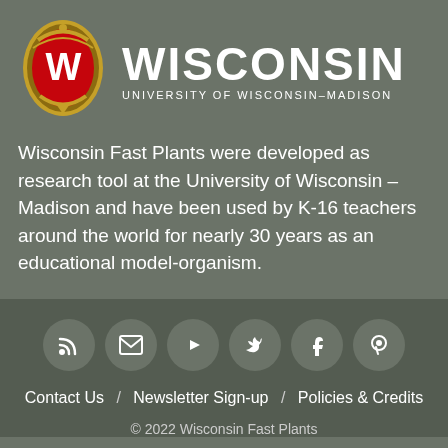[Figure (logo): University of Wisconsin-Madison crest and wordmark logo with W shield and WISCONSIN text]
Wisconsin Fast Plants were developed as research tool at the University of Wisconsin – Madison and have been used by K-16 teachers around the world for nearly 30 years as an educational model-organism.
[Figure (infographic): Six social media icon circles: RSS feed, Email/envelope, YouTube play button, Twitter bird, Facebook f, Pinterest p]
Contact Us  /  Newsletter Sign-up  /  Policies & Credits
© 2022 Wisconsin Fast Plants